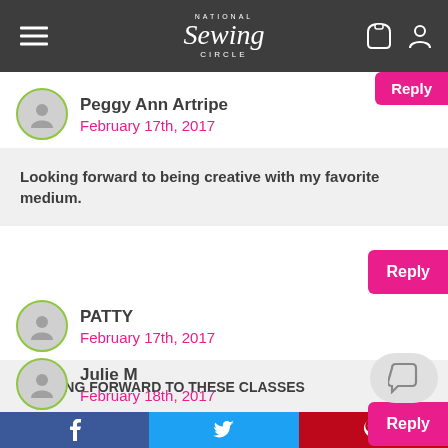National Sewing Circle
Reply
Peggy Ann Artripe
February 17th, 2017
Looking forward to being creative with my favorite medium.
Reply
PATTY
February 17th, 2017
LOOKING FORWARD TO THESE CLASSES
Reply
Julie M
February 18th, 2017